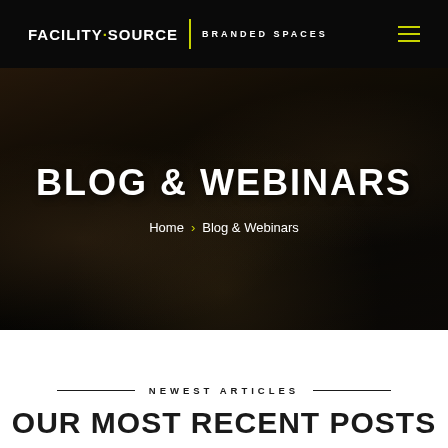FACILITY·SOURCE | BRANDED SPACES
[Figure (photo): Event/trade show floor photo showing people browsing display racks with merchandise, used as hero background image]
BLOG & WEBINARS
Home > Blog & Webinars
NEWEST ARTICLES
OUR MOST RECENT POSTS